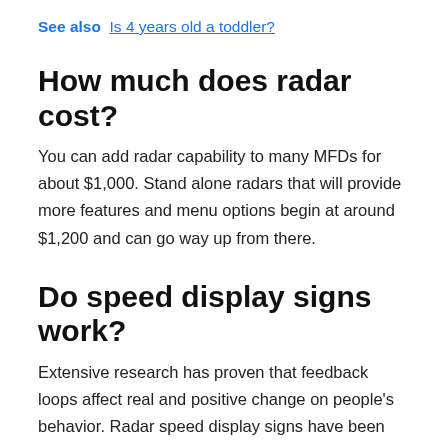See also  Is 4 years old a toddler?
How much does radar cost?
You can add radar capability to many MFDs for about $1,000. Stand alone radars that will provide more features and menu options begin at around $1,200 and can go way up from there.
Do speed display signs work?
Extensive research has proven that feedback loops affect real and positive change on people's behavior. Radar speed display signs have been shown to slow drivers an average of 10%, usually for several miles.Extensive research has proven that feedback loops affect real and positive change on people's behavior. Radar speed conditions. The...